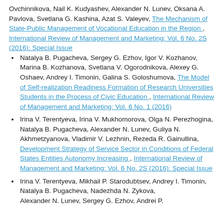Ovchinnikova, Nail K. Kudyashev, Alexander N. Lunev, Oksana A. Pavlova, Svetlana G. Kashina, Azat S. Valeyev, The Mechanism of State-Public Management of Vocational Education in the Region , International Review of Management and Marketing: Vol. 6 No. 2S (2016): Special Issue
Natalya B. Pugacheva, Sergey G. Ezhov, Igor V. Kozhanov, Marina B. Kozhanova, Svetlana V. Ogorodnikova, Alexey G. Oshaev, Andrey I. Timonin, Galina S. Goloshumova, The Model of Self-realization Readiness Formation of Research Universities Students in the Process of Civic Education , International Review of Management and Marketing: Vol. 6 No. 1 (2016)
Irina V. Terentyeva, Irina V. Mukhomorova, Olga N. Perezhogina, Natalya B. Pugacheva, Alexander N. Lunev, Guliya N. Akhmetzyanova, Vladimir V. Lezhnin, Rezeda R. Gainullina, Development Strategy of Service Sector in Conditions of Federal States Entities Autonomy Increasing , International Review of Management and Marketing: Vol. 6 No. 2S (2016): Special Issue
Irina V. Terentyeva, Mikhail P. Starodubtsev, Andrey I. Timonin, Natalya B. Pugacheva, Nadezhda N. Zykova, Alexander N. Lunev, Sergey G. Ezhov, Andrei P. Ragulin...